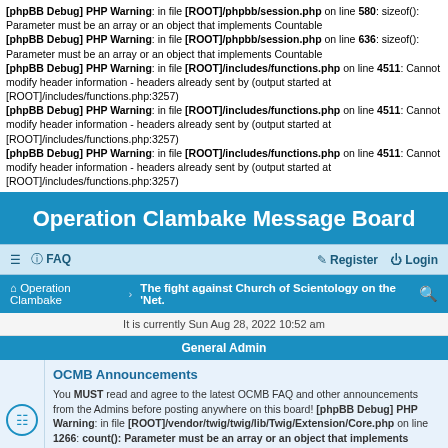[phpBB Debug] PHP Warning: in file [ROOT]/phpbb/session.php on line 580: sizeof(): Parameter must be an array or an object that implements Countable
[phpBB Debug] PHP Warning: in file [ROOT]/phpbb/session.php on line 636: sizeof(): Parameter must be an array or an object that implements Countable
[phpBB Debug] PHP Warning: in file [ROOT]/includes/functions.php on line 4511: Cannot modify header information - headers already sent by (output started at [ROOT]/includes/functions.php:3257)
[phpBB Debug] PHP Warning: in file [ROOT]/includes/functions.php on line 4511: Cannot modify header information - headers already sent by (output started at [ROOT]/includes/functions.php:3257)
[phpBB Debug] PHP Warning: in file [ROOT]/includes/functions.php on line 4511: Cannot modify header information - headers already sent by (output started at [ROOT]/includes/functions.php:3257)
Operation Clambake Message Board
≡  FAQ   Register  Login
Operation Clambake › The fight against Church of Scientology on the 'Net.
It is currently Sun Aug 28, 2022 10:52 am
General Admin
OCMB Announcements
You MUST read and agree to the latest OCMB FAQ and other announcements from the Admins before posting anywhere on this board! [phpBB Debug] PHP Warning: in file [ROOT]/vendor/twig/twig/lib/Twig/Extension/Core.php on line 1266: count(): Parameter must be an array or an object that implements Countable
Topics: 9
Guest Book
Please enter a short greeting. PS: Not for debates or replies, only short greetings from unregistered visitors. Anything else will be deleted without notice. [phpBB Debug] PHP Warning: in file